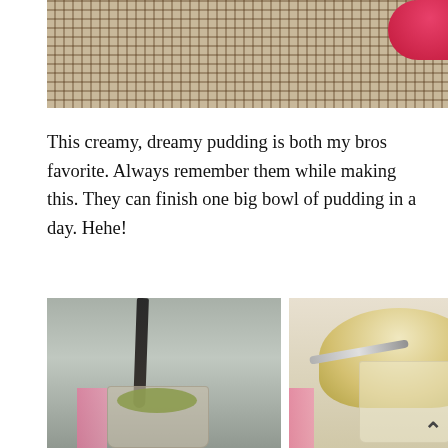[Figure (photo): Close-up photo of woven/lattice pattern fabric or mat with brown rectangular holes, with a pink flower visible in the top-right corner]
This creamy, dreamy pudding is both my bros favorite. Always remember them while making this. They can finish one big bowl of pudding in a day. Hehe!
[Figure (photo): Two food photos side by side: left shows a glass with pistachio pudding and a dark knife/spatula inserted, with pink napkin; right shows a glass of creamy pudding topped with pistachio crumble with a spoon, pink napkin in background]